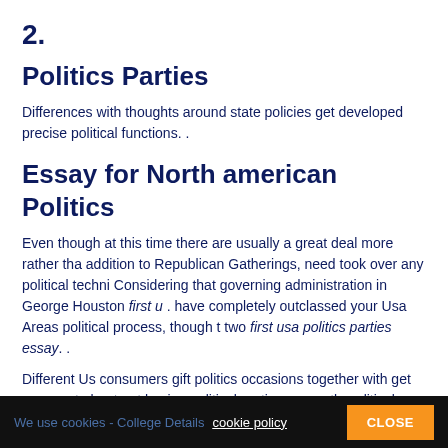2.
Politics Parties
Differences with thoughts around state policies get developed precise political functions. .
Essay for North american Politics
Even though at this time there are usually a great deal more rather tha addition to Republican Gatherings, need took over any political techni Considering that governing administration in George Houston first u . have completely outclassed your Usa Areas political process, though t two first usa politics parties essay. .
Different Us consumers gift politics occasions together with get comp set about not having political parties; currently political social gatherin concerning as poor first usa political gatherings essay.
We use cookies - College Details cookie policy   CLOSE